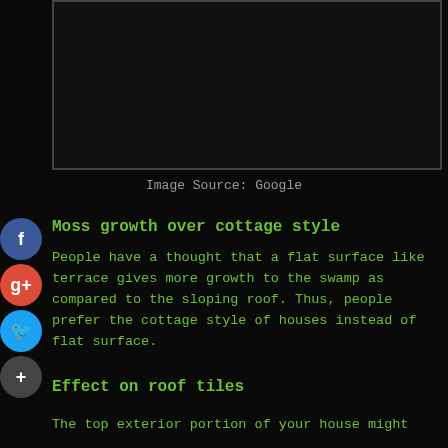[Figure (photo): Dark image placeholder box with border]
Image Source: Google
Moss growth over cottage style
People have a thought that a flat surface like terrace gives more growth to the swamp as compared to the sloping roof. Thus, people prefer the cottage style of houses instead of flat surface.
Effect on roof tiles
The top exterior portion of your house might